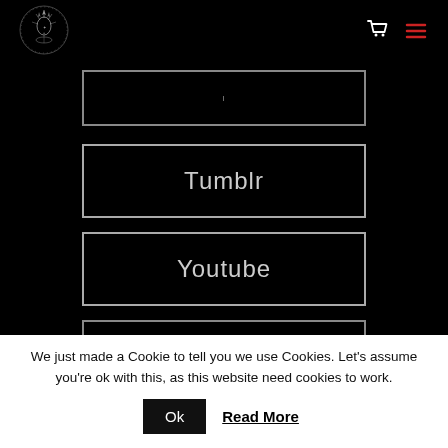[Figure (logo): White ornate crest/logo icon on black background]
Tumblr
Youtube
Soundcloud
We just made a Cookie to tell you we use Cookies. Let's assume you're ok with this, as this website need cookies to work.
Ok
Read More